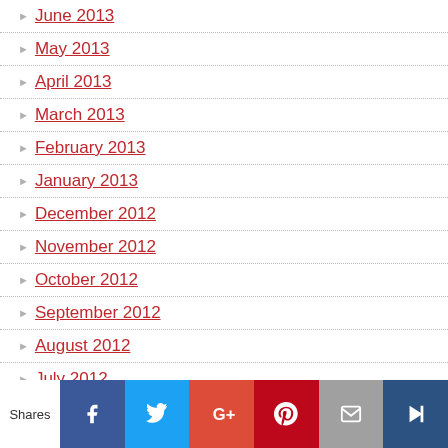June 2013
May 2013
April 2013
March 2013
February 2013
January 2013
December 2012
November 2012
October 2012
September 2012
August 2012
July 2012